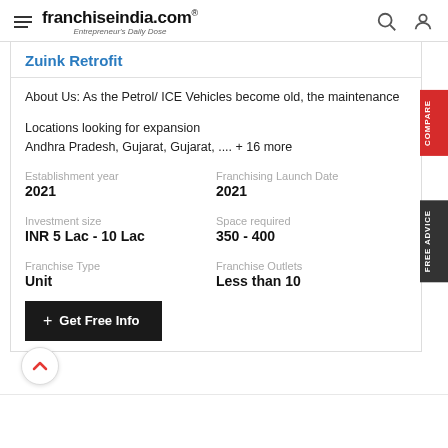franchiseindia.com Entrepreneur's Daily Dose
Zuink Retrofit
About Us: As the Petrol/ ICE Vehicles become old, the maintenance
Locations looking for expansion
Andhra Pradesh, Gujarat, Gujarat, .... + 16 more
| Field | Value |
| --- | --- |
| Establishment year | 2021 |
| Franchising Launch Date | 2021 |
| Investment size | INR 5 Lac - 10 Lac |
| Space required | 350 - 400 |
| Franchise Type | Unit |
| Franchise Outlets | Less than 10 |